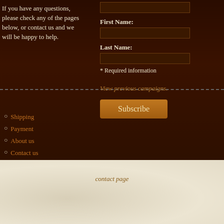If you have any questions, please check any of the pages below, or contact us and we will be happy to help.
First Name:
Last Name:
* Required information
View previous campaigns.
Subscribe
Shipping
Payment
About us
Contact us
contact page